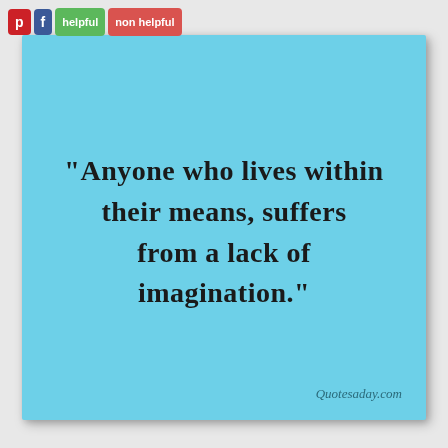[Figure (other): Social sharing bar with Pinterest (red), Facebook (blue), 'helpful' (green), and 'non helpful' (red) buttons at the top left]
[Figure (other): Light blue sticky note with a handwritten-style quote and Quotesaday.com watermark]
"Anyone who lives within their means, suffers from a lack of imagination."
Quotesaday.com